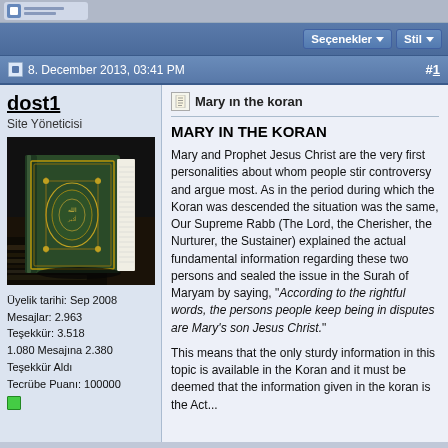8. December 2013, 03:41 PM  #1
dost1
Site Yöneticisi
[Figure (photo): Photo of a Quran (Koran) book lying on a decorative surface against a dark background]
Üyelik tarihi: Sep 2008
Mesajlar: 2.963
Teşekkür: 3.518
1.080 Mesajına 2.380 Teşekkür Aldı
Tecrübe Puanı: 100000
Mary ın the koran
MARY IN THE KORAN
Mary and Prophet Jesus Christ are the very first personalities about whom people stir controversy and argue most. As in the period during which the Koran was descended the situation was the same, Our Supreme Rabb (The Lord, the Cherisher, the Nurturer, the Sustainer) explained the actual fundamental information regarding these two persons and sealed the issue in the Surah of Maryam by saying, "According to the rightful words, the persons people keep being in disputes are Mary's son Jesus Christ."

This means that the only sturdy information in this topic is available in the Koran and it must be deemed that the information given in the koran is the Act...